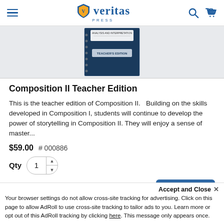Veritas Press
[Figure (photo): Book cover of Composition II Teacher Edition — dark blue composition notebook style cover with white label reading TEACHER'S EDITION]
Composition II Teacher Edition
This is the teacher edition of Composition II.   Building on the skills developed in Composition I, students will continue to develop the power of storytelling in Composition II. They will enjoy a sense of master...
$59.00  # 000886
Qty  1
Accept and Close ✕
Your browser settings do not allow cross-site tracking for advertising. Click on this page to allow AdRoll to use cross-site tracking to tailor ads to you. Learn more or opt out of this AdRoll tracking by clicking here. This message only appears once.